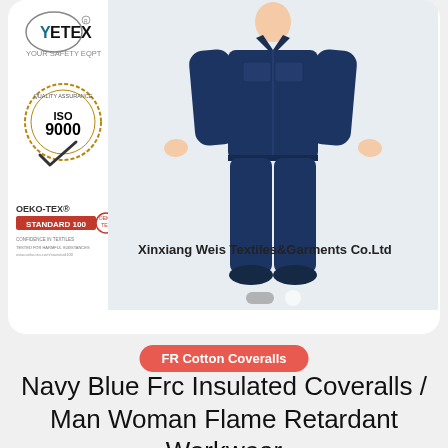[Figure (logo): YETEX logo with text YOUR SAFETY EQPT]
[Figure (logo): ISO 9000 certification badge with checkmark]
[Figure (logo): OEKO-TEX STANDARD 100 certification logo]
[Figure (photo): Navy blue flame retardant coveralls worn by a person, full body shot on white/light background]
Xinxiang Weis Textiles&Garments Co.Ltd
FR Cotton Coveralls
Navy Blue Frc Insulated Coveralls / Man Woman Flame Retardant Workwear